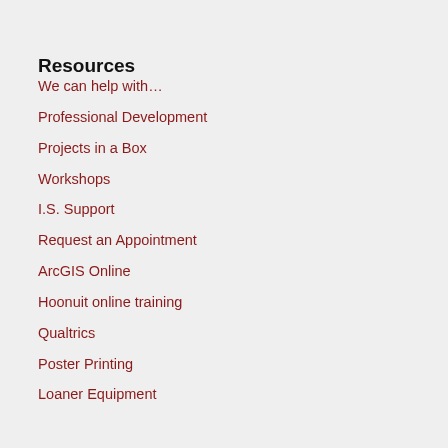Resources
We can help with…
Professional Development
Projects in a Box
Workshops
I.S. Support
Request an Appointment
ArcGIS Online
Hoonuit online training
Qualtrics
Poster Printing
Loaner Equipment